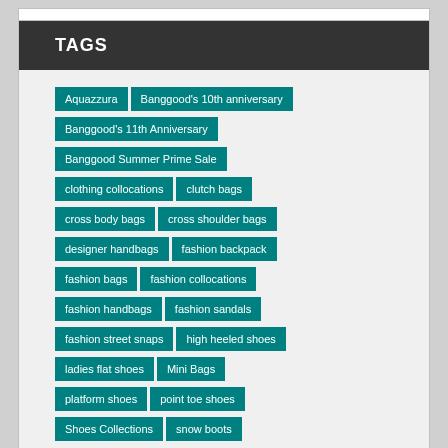TAGS
Aquazzura
Banggood's 10th anniversary
Banggood's 11th Anniversary
Banggood Summer Prime Sale
clothing collocations
clutch bags
cross body bags
cross shoulder bags
designer handbags
fashion backpack
fashion bags
fashion collocations
fashion handbags
fashion sandals
fashion street snaps
high heeled shoes
ladies flat shoes
Mini Bags
platform shoes
point toe shoes
Shoes Collections
snow boots